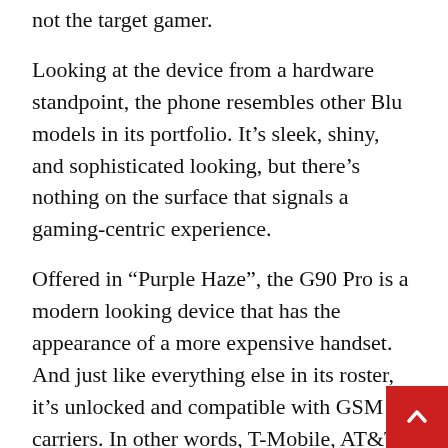not the target gamer.
Looking at the device from a hardware standpoint, the phone resembles other Blu models in its portfolio. It’s sleek, shiny, and sophisticated looking, but there’s nothing on the surface that signals a gaming-centric experience.
Offered in “Purple Haze”, the G90 Pro is a modern looking device that has the appearance of a more expensive handset. And just like everything else in its roster, it’s unlocked and compatible with GSM carriers. In other words, T-Mobile, AT&T, and any of their respective brands can support the phone.
As to where the G90 Pro fits in line with its other models, we’ll want to back up a bit. See, there’s an entry-level G9 which launched last summer with a price tag of around $180. A few months later Blu